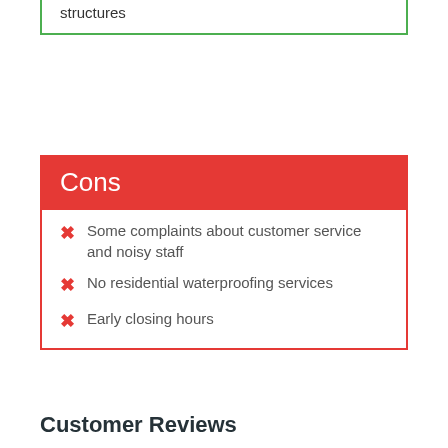structures
Cons
Some complaints about customer service and noisy staff
No residential waterproofing services
Early closing hours
Customer Reviews